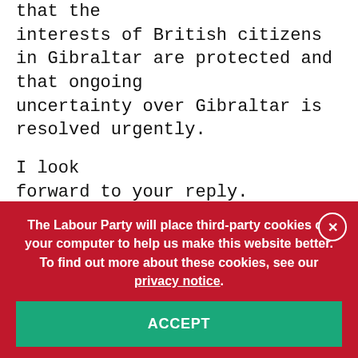that the interests of British citizens in Gibraltar are protected and that ongoing uncertainty over Gibraltar is resolved urgently.
I look forward to your reply.
Yours sincerely,
Keir Starmer QC MP
The Labour Party will place third-party cookies on your computer to help us make this website better. To find out more about these cookies, see our privacy notice.